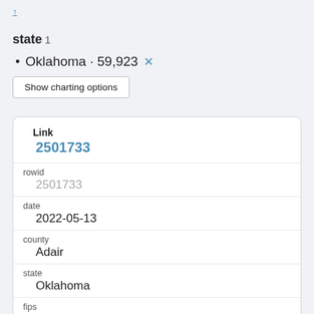↑
state 1
Oklahoma · 59,923 ✕
Show charting options
| Field | Value |
| --- | --- |
| Link | 2501733 |
| rowid | 2501733 |
| date | 2022-05-13 |
| county | Adair |
| state | Oklahoma |
| fips | 40001 |
| cases | 8001 |